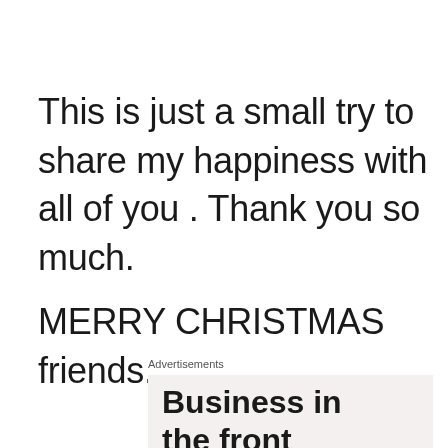This is just a small try to share my happiness with all of you . Thank you so much.
MERRY CHRISTMAS friends...
Advertisements
Business in the front